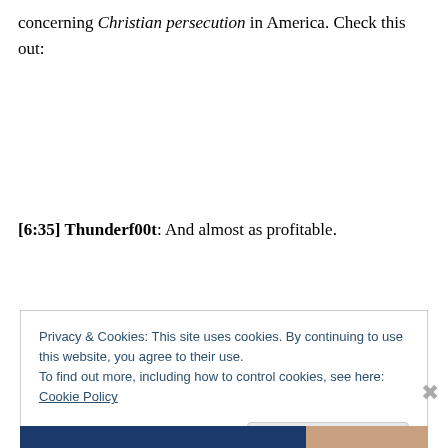concerning Christian persecution in America. Check this out:
[6:35] Thunderf00t: And almost as profitable.
Privacy & Cookies: This site uses cookies. By continuing to use this website, you agree to their use.
To find out more, including how to control cookies, see here: Cookie Policy
Close and accept